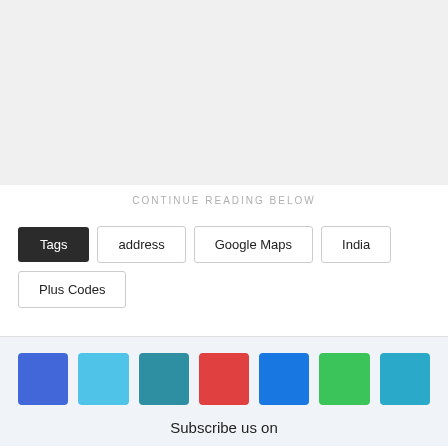[Figure (other): Gray placeholder block for advertisement or image content]
CONTINUE READING BELOW
Tags  address  Google Maps  India  Plus Codes
[Figure (infographic): Row of social media icon buttons: Facebook (blue), Twitter (light blue), LinkedIn (teal), Google/Pinterest (red), Messenger (blue), WhatsApp (green), Telegram (teal)]
Subscribe us on